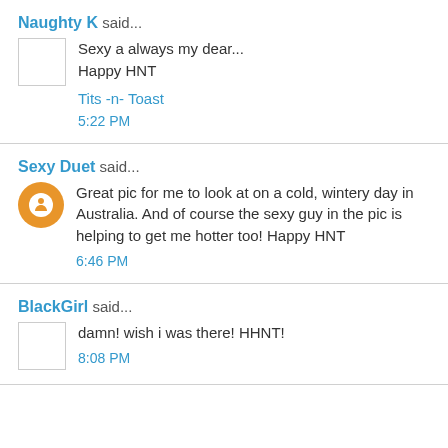Naughty K said...
Sexy a always my dear...
Happy HNT
Tits -n- Toast
5:22 PM
Sexy Duet said...
Great pic for me to look at on a cold, wintery day in Australia. And of course the sexy guy in the pic is helping to get me hotter too! Happy HNT
6:46 PM
BlackGirl said...
damn! wish i was there! HHNT!
8:08 PM